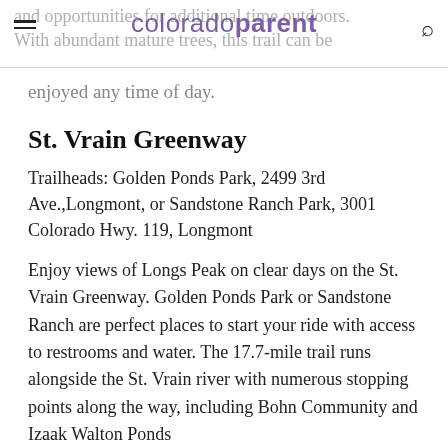coloradoparent — and opportunities for additional time outdoors. With abundant mature trees, this trail can be
enjoyed any time of day.
St. Vrain Greenway
Trailheads: Golden Ponds Park, 2499 3rd Ave.,Longmont, or Sandstone Ranch Park, 3001 Colorado Hwy. 119, Longmont
Enjoy views of Longs Peak on clear days on the St. Vrain Greenway. Golden Ponds Park or Sandstone Ranch are perfect places to start your ride with access to restrooms and water. The 17.7-mile trail runs alongside the St. Vrain river with numerous stopping points along the way, including Bohn Community and Izaak Walton Ponds...